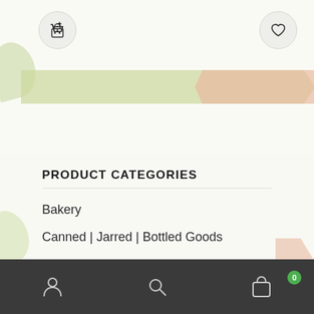[Figure (screenshot): Mobile app screenshot showing product categories list with top navigation icons (cart and heart) and decorative banner graphics]
PRODUCT CATEGORIES
Bakery
Canned | Jarred | Bottled Goods
Cleaning Products
Drinks
Flavouring
Bottom navigation bar with person, search, and shopping bag icons; bag shows badge 0